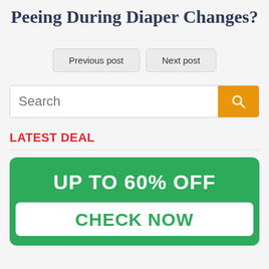Peeing During Diaper Changes?
Previous post | Next post
Search
LATEST DEAL
UP TO 60% OFF
CHECK NOW